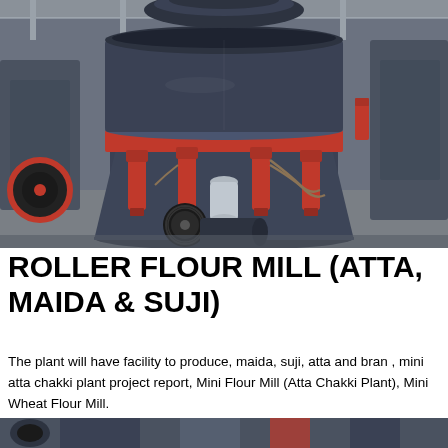[Figure (photo): Industrial roller flour mill machine in a factory setting. The machine is large, dark grey/charcoal colored with red hydraulic cylinders and components. It features a large circular top section, belt-drive pulleys, and various hydraulic hoses. Multiple similar machines are visible in the background of the manufacturing facility.]
ROLLER FLOUR MILL (ATTA, MAIDA & SUJI)
The plant will have facility to produce, maida, suji, atta and bran , mini atta chakki plant project report, Mini Flour Mill (Atta Chakki Plant), Mini Wheat Flour Mill.
[Figure (photo): Partial view of another industrial milling machine, cropped at bottom of page.]